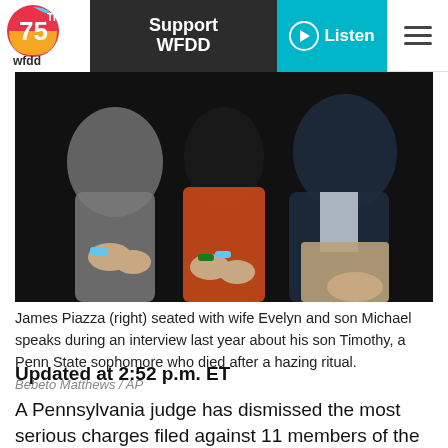wfdd | Support WFDD | Listen
[Figure (photo): Three people seated in a dark setting: a person in a grey jacket on the left, a person in an orange top in the center, and a person in a navy blazer on the right. Their hands and laps are visible.]
James Piazza (right) seated with wife Evelyn and son Michael speaks during an interview last year about his son Timothy, a Penn State sophomore who died after a hazing ritual.
Bebeto Matthews / AP
Updated at 2:52 p.m. ET
A Pennsylvania judge has dismissed the most serious charges filed against 11 members of the Beta Theta Pi fraternity in the hazing-related death of Timothy Piazza.